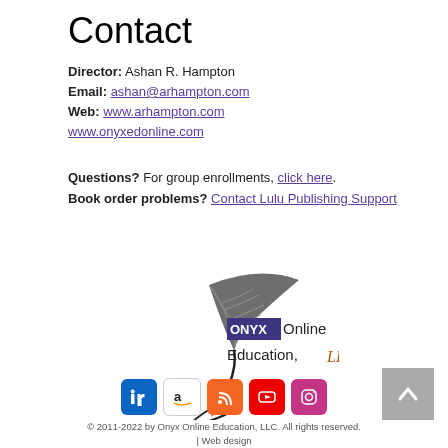Contact
Director: Ashan R. Hampton
Email: ashan@arhampton.com
Web: www.arhampton.com
www.onyxedonline.com
Questions? For group enrollments, click here. Book order problems? Contact Lulu Publishing Support
[Figure (logo): Onyx Online Education LLC logo with feather quill and pen]
[Figure (infographic): Social media icons: LinkedIn, Amazon, RSS, YouTube, Instagram]
© 2011-2022 by Onyx Online Education, LLC. All rights reserved. | Web design by Ashan R. Hampton. | Privacy Policy